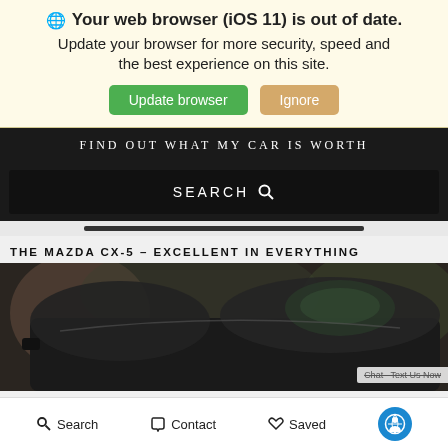🌐 Your web browser (iOS 11) is out of date. Update your browser for more security, speed and the best experience on this site. Update browser | Ignore
FIND OUT WHAT MY CAR IS WORTH
SEARCH 🔍
THE MAZDA CX-5 – EXCELLENT IN EVERYTHING
[Figure (photo): Dark colored Mazda CX-5 SUV photographed from the side/rear, with Chat/Text Us Now overlay visible at bottom right]
Search  Contact  Saved  [Accessibility icon]